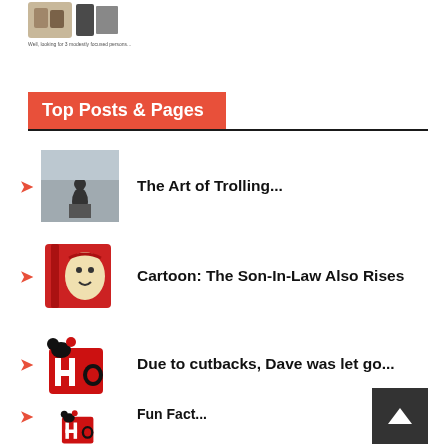[Figure (photo): Small thumbnail image of stacked jars and items with a caption below]
Top Posts & Pages
The Art of Trolling...
Cartoon: The Son-In-Law Also Rises
Due to cutbacks, Dave was let go...
Happy are parents at an Australian restaurant that gives a 10% discount when no cell phones are used...
Fun Fact...